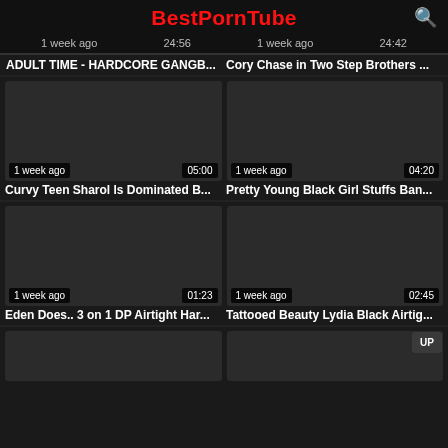BestPornTube
1 week ago   24:56   1 week ago   24:42
ADULT TIME - HARDCORE GANGB...   Cory Chase in Two Step Brothers ...
[Figure (screenshot): Video thumbnail dark placeholder, 1 week ago, 05:00]
[Figure (screenshot): Video thumbnail dark placeholder, 1 week ago, 04:20]
Curvy Teen Sharol Is Dominated B...
Pretty Young Black Girl Stuffs Ban...
[Figure (screenshot): Video thumbnail dark placeholder, 1 week ago, 01:23]
[Figure (screenshot): Video thumbnail dark placeholder, 1 week ago, 02:45]
Eden Does.. 3 on 1 DP Airtight Har...
Tattooed Beauty Lydia Black Airtig...